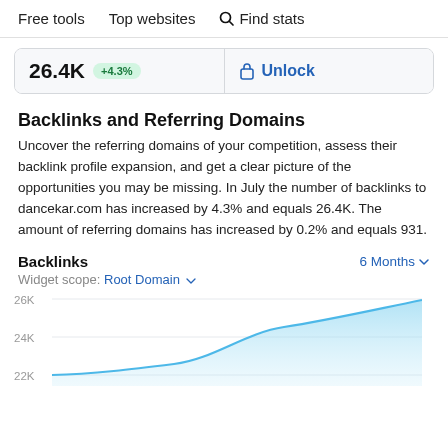Free tools   Top websites   Find stats
26.4K  +4.3%
Unlock
Backlinks and Referring Domains
Uncover the referring domains of your competition, assess their backlink profile expansion, and get a clear picture of the opportunities you may be missing. In July the number of backlinks to dancekar.com has increased by 4.3% and equals 26.4K. The amount of referring domains has increased by 0.2% and equals 931.
Backlinks   6 Months
Widget scope: Root Domain
[Figure (area-chart): Backlinks]